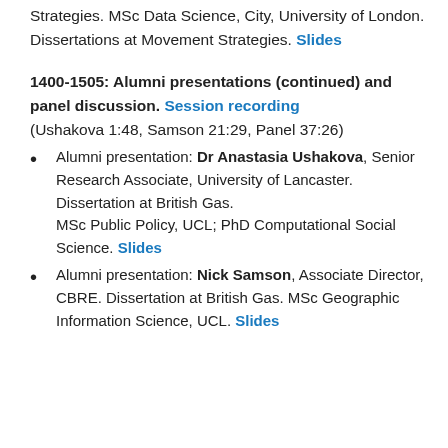Strategies. MSc Data Science, City, University of London. Dissertations at Movement Strategies. Slides
1400-1505: Alumni presentations (continued) and panel discussion. Session recording (Ushakova 1:48, Samson 21:29, Panel 37:26)
Alumni presentation: Dr Anastasia Ushakova, Senior Research Associate, University of Lancaster. Dissertation at British Gas. MSc Public Policy, UCL; PhD Computational Social Science. Slides
Alumni presentation: Nick Samson, Associate Director, CBRE. Dissertation at British Gas. MSc Geographic Information Science, UCL. Slides